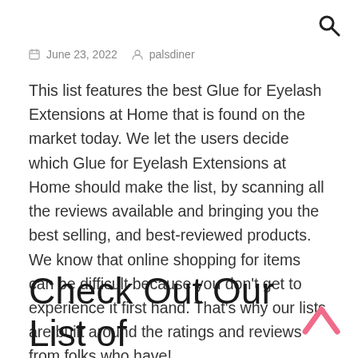🔍
📅 June 23, 2022   👤 palsdiner
This list features the best Glue for Eyelash Extensions at Home that is found on the market today. We let the users decide which Glue for Eyelash Extensions at Home should make the list, by scanning all the reviews available and bringing you the best selling, and best-reviewed products. We know that online shopping for items can be difficult because you don't get to experience it first hand. That's why our lists are built around the ratings and reviews from folks who have!
Check Out Our List of Glue for Eyelash